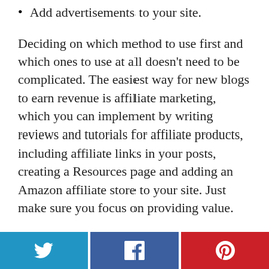Add advertisements to your site.
Deciding on which method to use first and which ones to use at all doesn't need to be complicated. The easiest way for new blogs to earn revenue is affiliate marketing, which you can implement by writing reviews and tutorials for affiliate products, including affiliate links in your posts, creating a Resources page and adding an Amazon affiliate store to your site. Just make sure you focus on providing value.
Speaking of providing value, if you can't decide